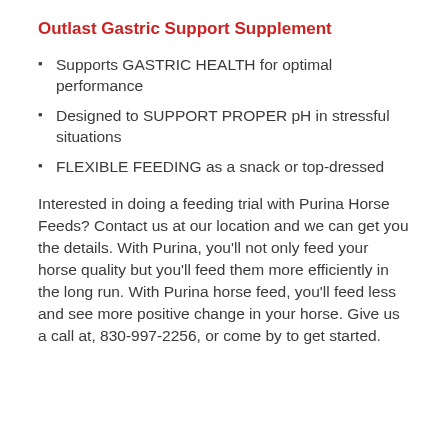Outlast Gastric Support Supplement
Supports GASTRIC HEALTH for optimal performance
Designed to SUPPORT PROPER pH in stressful situations
FLEXIBLE FEEDING as a snack or top-dressed
Interested in doing a feeding trial with Purina Horse Feeds? Contact us at our location and we can get you the details. With Purina, you'll not only feed your horse quality but you'll feed them more efficiently in the long run. With Purina horse feed, you'll feed less and see more positive change in your horse. Give us a call at, 830-997-2256, or come by to get started.